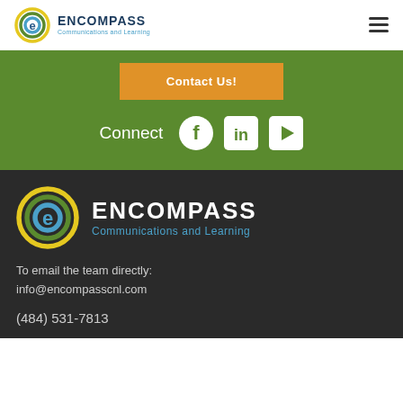[Figure (logo): Encompass Communications and Learning logo with circular e icon in header]
[Figure (other): Hamburger menu icon (three horizontal lines)]
Contact Us!
Connect
[Figure (other): Facebook, LinkedIn, and YouTube social media icons in white on green background]
[Figure (logo): Encompass Communications and Learning large logo on dark background]
To email the team directly:
info@encompasscnl.com
(484) 531-7813